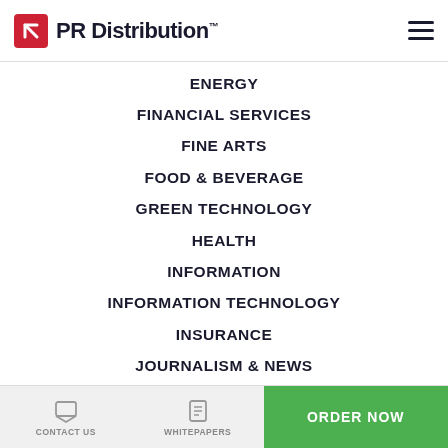PR Distribution™
ENERGY
FINANCIAL SERVICES
FINE ARTS
FOOD & BEVERAGE
GREEN TECHNOLOGY
HEALTH
INFORMATION
INFORMATION TECHNOLOGY
INSURANCE
JOURNALISM & NEWS
CONTACT US | WHITEPAPERS | ORDER NOW